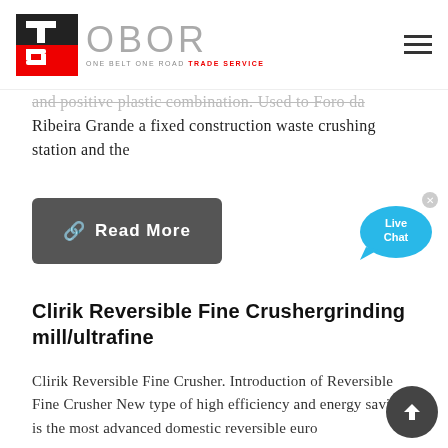[Figure (logo): OBOR Trade Service logo with red and black TS emblem and OBOR text with tagline ONE BELT ONE ROAD TRADE SERVICE]
and positive plastic combination. Used to Foro da Ribeira Grande a fixed construction waste crushing station and the
Read More
[Figure (illustration): Live Chat speech bubble widget with x close button]
Clirik Reversible Fine Crushergrinding mill/ultrafine
Clirik Reversible Fine Crusher. Introduction of Reversible Fine Crusher New type of high efficiency and energy saving is the most advanced domestic reversible euro